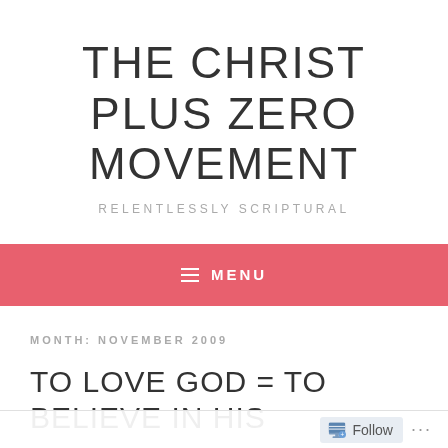THE CHRIST PLUS ZERO MOVEMENT
RELENTLESSLY SCRIPTURAL
≡  MENU
MONTH: NOVEMBER 2009
TO LOVE GOD = TO BELIEVE IN HIS